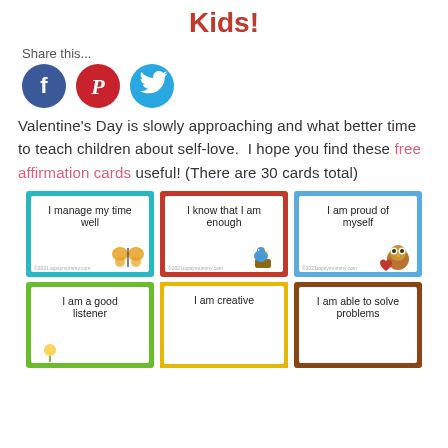Kids!
Share this...
[Figure (illustration): Three social media share icons: Facebook (blue circle with f), Pinterest (red circle with P), Twitter (light blue circle with bird)]
Valentine's Day is slowly approaching and what better time to teach children about self-love. I hope you find these free affirmation cards useful! (There are 30 cards total)
[Figure (illustration): Three affirmation cards for kids: teal card 'I manage my time well' with butterfly, red card 'I know that I am enough' with bird on stump, blue card 'I am proud of myself' with owl holding heart]
[Figure (illustration): Three more affirmation cards: green card 'I am a good listener', yellow card 'I am creative', brown card 'I am able to solve problems']